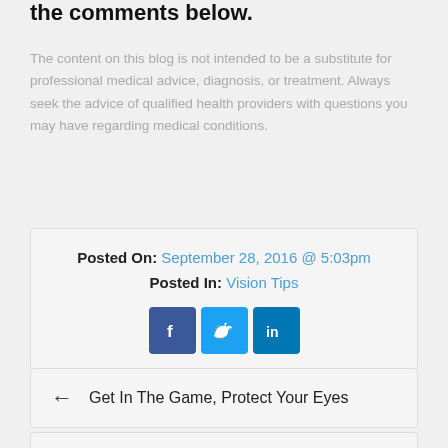the comments below.
The content on this blog is not intended to be a substitute for professional medical advice, diagnosis, or treatment. Always seek the advice of qualified health providers with questions you may have regarding medical conditions.
Posted On: September 28, 2016 @ 5:03pm
Posted In: Vision Tips
[Figure (other): Social sharing icons: Facebook (f), Twitter (bird), LinkedIn (in)]
← Get In The Game, Protect Your Eyes
→ Even At Home Our Eyes Need Protection